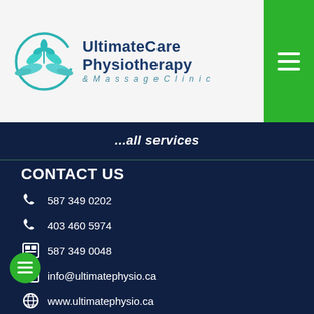[Figure (logo): UltimateCare Physiotherapy & Massage Clinic logo with teal leaf/plant graphic and circle]
UltimateCare Physiotherapy & Massage Clinic
...all services
CONTACT US
587 349 0202
403 460 5974
587 349 0048
info@ultimatephysio.ca
www.ultimatephysio.ca
FOLLOW US